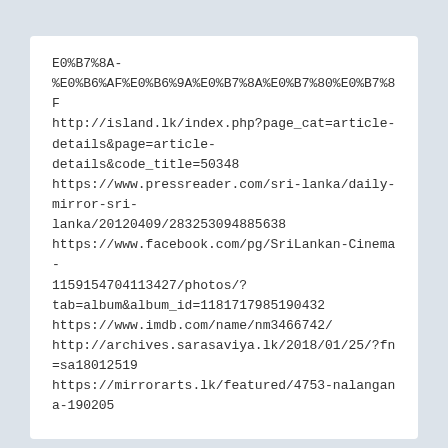E0%B7%8A-%E0%B6%AF%E0%B6%9A%E0%B7%8A%E0%B7%80%E0%B7%8F
http://island.lk/index.php?page_cat=article-details&page=article-details&code_title=50348
https://www.pressreader.com/sri-lanka/daily-mirror-sri-lanka/20120409/283253094885638
https://www.facebook.com/pg/SriLankan-Cinema-1159154704113427/photos/?tab=album&album_id=1181717985190432
https://www.imdb.com/name/nm3466742/
http://archives.sarasaviya.lk/2018/01/25/?fn=sa18012519
https://mirrorarts.lk/featured/4753-nalangana-190205